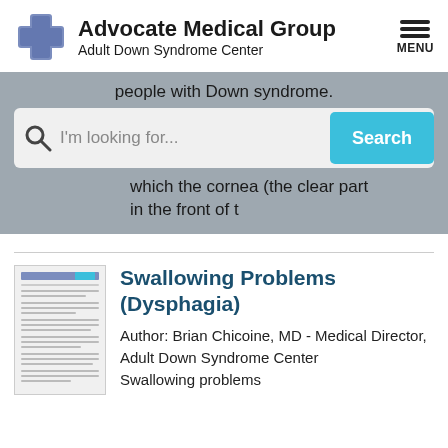Advocate Medical Group Adult Down Syndrome Center
people with Down syndrome.
[Figure (screenshot): Search bar with magnifying glass icon, placeholder text 'I'm looking for...', and a teal 'Search' button]
which the cornea (the clear part in the front of t
Swallowing Problems (Dysphagia)
Author: Brian Chicoine, MD - Medical Director, Adult Down Syndrome Center
Swallowing problems
[Figure (screenshot): Thumbnail of an article page document]